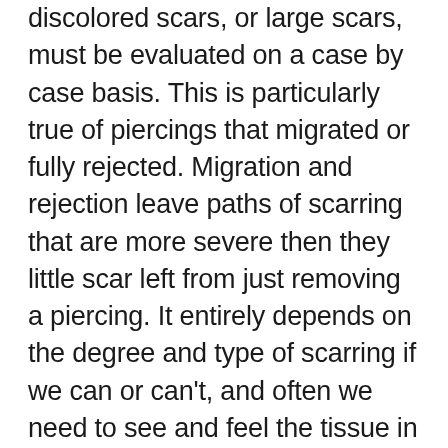discolored scars, or large scars, must be evaluated on a case by case basis. This is particularly true of piercings that migrated or fully rejected. Migration and rejection leave paths of scarring that are more severe then they little scar left from just removing a piercing. It entirely depends on the degree and type of scarring if we can or can't, and often we need to see and feel the tissue in person to determine this. If you are unsure what category the scars from your piercing may fall in it doesn't hurt to send some photos to your piercer of choice and see what they say. Be aware many scars need to be assessed in person, so you very well may need to do an in person consultation to get a final answer.